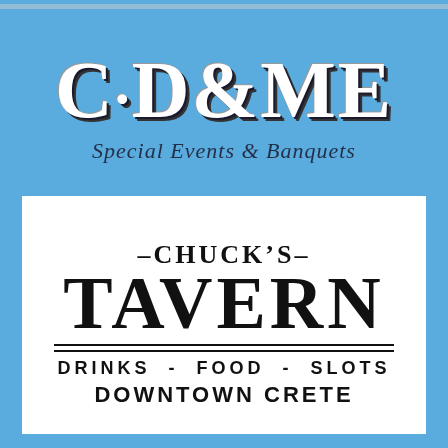C·D&ME
Special Events & Banquets
[Figure (logo): Chuck's Tavern logo on white card: '–CHUCK'S– TAVERN' in large serif bold, with 'DRINKS - FOOD - SLOTS' and 'DOWNTOWN CRETE' below double rules]
–CHUCK'S– TAVERN DRINKS - FOOD - SLOTS DOWNTOWN CRETE